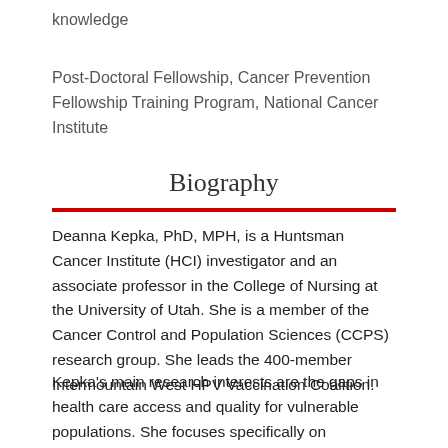knowledge
Post-Doctoral Fellowship, Cancer Prevention Fellowship Training Program, National Cancer Institute
Biography
Deanna Kepka, PhD, MPH, is a Huntsman Cancer Institute (HCI) investigator and an associate professor in the College of Nursing at the University of Utah. She is a member of the Cancer Control and Population Sciences (CCPS) research group. She leads the 400-member Intermountain West HPV Vaccination Coalition.
Kepka's main research interests are the gaps in health care access and quality for vulnerable populations. She focuses specifically on preventing cervical cancer among US Latinas, who have higher rates of cervical cancer than